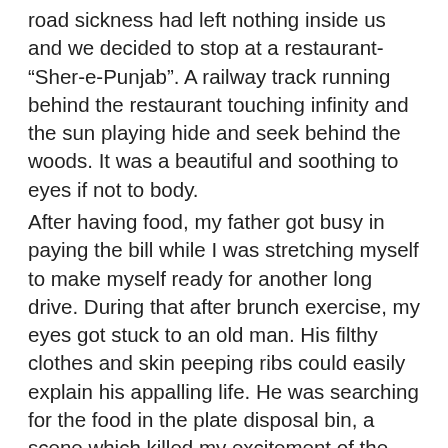road sickness had left nothing inside us and we decided to stop at a restaurant- “Sher-e-Punjab”. A railway track running behind the restaurant touching infinity and the sun playing hide and seek behind the woods. It was a beautiful and soothing to eyes if not to body. After having food, my father got busy in paying the bill while I was stretching myself to make myself ready for another long drive. During that after brunch exercise, my eyes got stuck to an old man. His filthy clothes and skin peeping ribs could easily explain his appalling life. He was searching for the food in the plate disposal bin, a scene which killed my excitement of the trip. I wished that I could do something for him, ‘but what?’ I thought. The cheeks had gone wet and this time it was not because of excessive sweating I was dealing with but with the salty tears which became even more salty after extra salty food. It was the